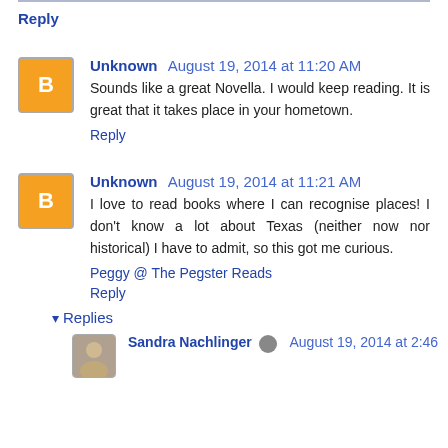Reply
Unknown August 19, 2014 at 11:20 AM
Sounds like a great Novella. I would keep reading. It is great that it takes place in your hometown.
Reply
Unknown August 19, 2014 at 11:21 AM
I love to read books where I can recognise places! I don't know a lot about Texas (neither now nor historical) I have to admit, so this got me curious.
Peggy @ The Pegster Reads
Reply
Replies
Sandra Nachlinger August 19, 2014 at 2:46